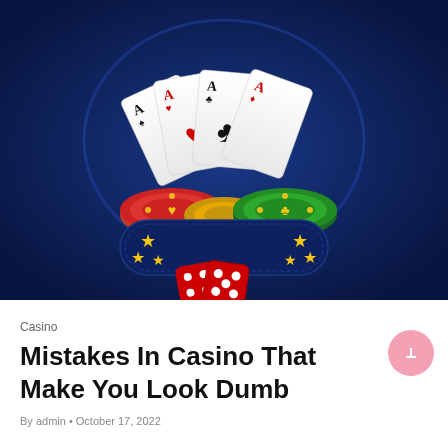[Figure (illustration): Casino-themed illustration on dark navy blue background featuring four playing cards (aces) fanned out, casino chips (red and green), two red dice at the bottom, and a dark navy banner/shield shape in the center with gold stars.]
Casino
Mistakes In Casino That Make You Look Dumb
By admin • October 17, 2022